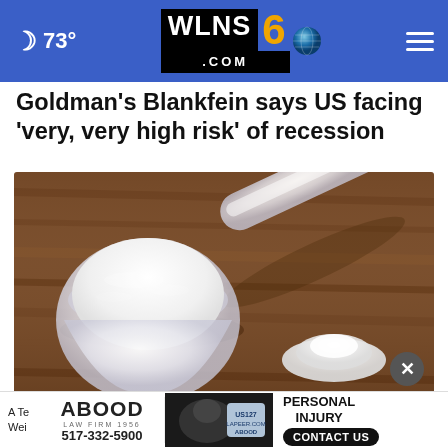73° WLNS6.COM
Goldman's Blankfein says US facing 'very, very high risk' of recession
[Figure (photo): A plastic measuring scoop filled with white powder (milk powder or protein powder) on a rustic wooden background, with a small pile of powder beside it.]
A Te... Wei...
ABOOD LAW FIRM 1956 517-332-5900 PERSONAL INJURY CONTACT US